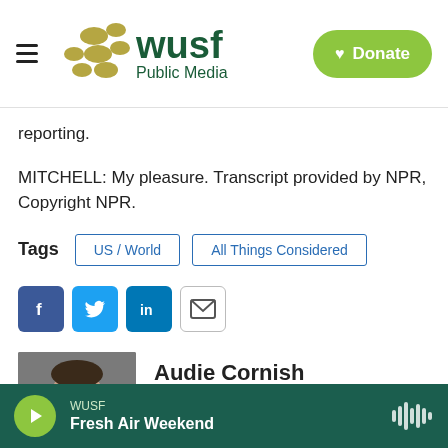WUSF Public Media | Donate
reporting.
MITCHELL: My pleasure. Transcript provided by NPR, Copyright NPR.
Tags  US / World  All Things Considered
[Figure (screenshot): Social sharing icons: Facebook, Twitter, LinkedIn, Email]
[Figure (photo): Headshot of Audie Cornish]
Audie Cornish
Over two decades of journalism, Audie
WUSF  Fresh Air Weekend